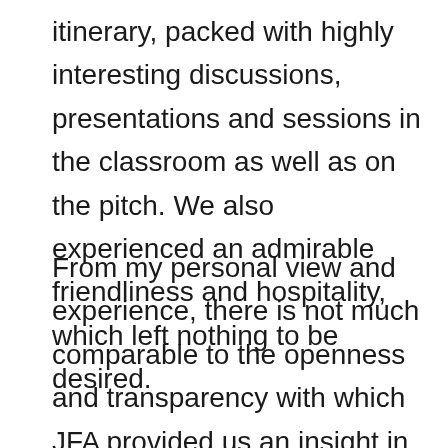itinerary, packed with highly interesting discussions, presentations and sessions in the classroom as well as on the pitch. We also experienced an admirable friendliness and hospitality, which left nothing to be desired.
From my personal view and experience, there is not much comparable to the openness and transparency with which JFA provided us an insight in their practices and their philosophy of youth development. They allowed us an impressive overview of best practice and a valuable learning opportunity. Also, I was deeply impressed of the vivacity of the